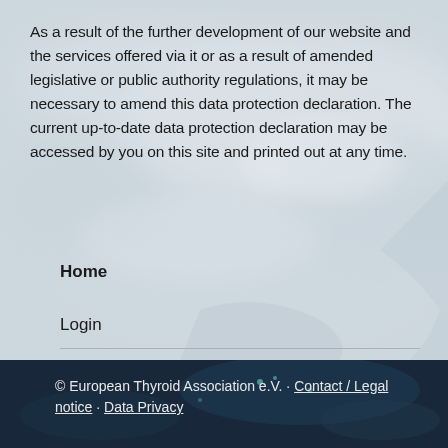As a result of the further development of our website and the services offered via it or as a result of amended legislative or public authority regulations, it may be necessary to amend this data protection declaration. The current up-to-date data protection declaration may be accessed by you on this site and printed out at any time.
Home
Login
© European Thyroid Association e.V. · Contact / Legal notice · Data Privacy